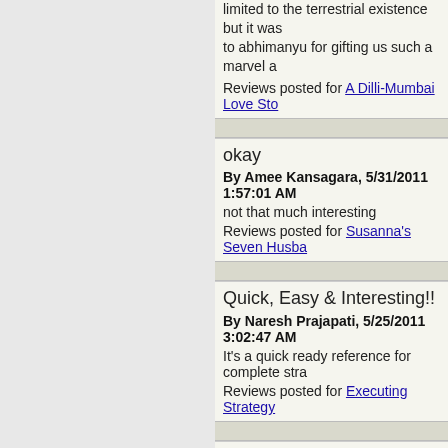limited to the terrestrial existence but it was to abhimanyu for gifting us such a marvel a
Reviews posted for A Dilli-Mumbai Love Sto
okay
By Amee Kansagara, 5/31/2011 1:57:01 AM
not that much interesting
Reviews posted for Susanna's Seven Husba
Quick, Easy & Interesting!!
By Naresh Prajapati, 5/25/2011 3:02:47 AM
It's a quick ready reference for complete stra
Reviews posted for Executing Strategy
This is how life is! You have to ma
By Niket Kapadia, 5/17/2011 7:25:15 AM
To read a work of fiction in familiar surroundi book is a masterpiece of the surroundings I and a story that keeps you in touch with rea consequences beyond one's control. The bo till end. It is set in a world where we had no